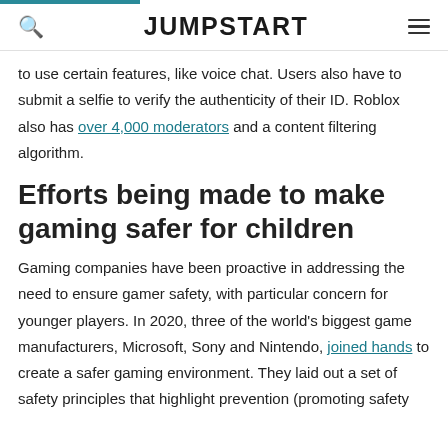JUMPSTART
to use certain features, like voice chat. Users also have to submit a selfie to verify the authenticity of their ID. Roblox also has over 4,000 moderators and a content filtering algorithm.
Efforts being made to make gaming safer for children
Gaming companies have been proactive in addressing the need to ensure gamer safety, with particular concern for younger players. In 2020, three of the world's biggest game manufacturers, Microsoft, Sony and Nintendo, joined hands to create a safer gaming environment. They laid out a set of safety principles that highlight prevention (promoting safety